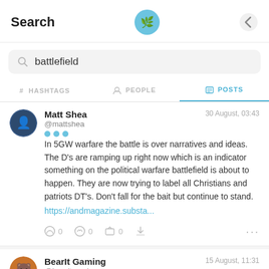Search
battlefield
# HASHTAGS   🙂 PEOPLE   📋 POSTS
Matt Shea @mattshea  30 August, 03:43
In 5GW warfare the battle is over narratives and ideas. The D's are ramping up right now which is an indicator something on the political warfare battlefield is about to happen. They are now trying to label all Christians and patriots DT's. Don't fall for the bait but continue to stand.
https://andmagazine.substa...
BearIt Gaming @bearitgaming  15 August, 11:31